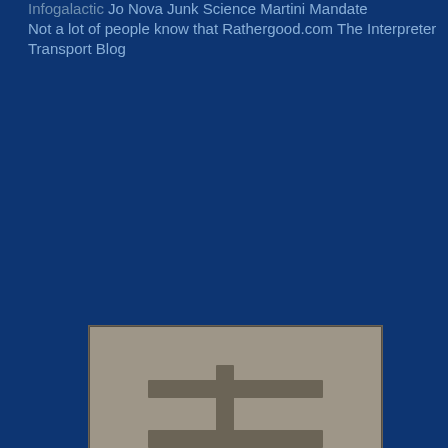Infogalactic
Jo Nova
Junk Science
Martini Mandate
Not a lot of people know that
Rathergood.com
The Interpreter
Transport Blog
[Figure (photo): Grayscale image of a stone carving or relief with a cross-like symbol and a figure beneath it]
theUnionbetweenGreatBritainandN